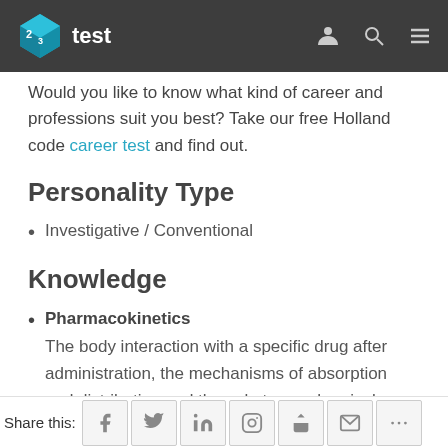23test
Would you like to know what kind of career and professions suit you best? Take our free Holland code career test and find out.
Personality Type
Investigative / Conventional
Knowledge
Pharmacokinetics — The body interaction with a specific drug after administration, the mechanisms of absorption and distribution and the substance chemical changes in
Share this: